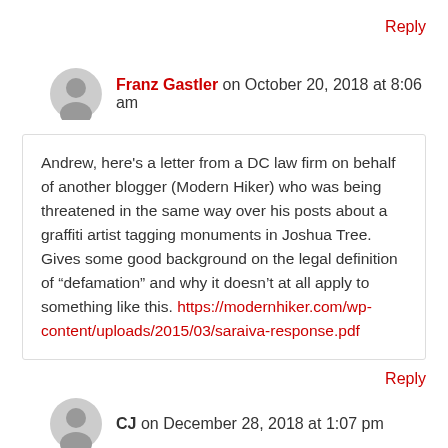Reply
Franz Gastler on October 20, 2018 at 8:06 am
Andrew, here’s a letter from a DC law firm on behalf of another blogger (Modern Hiker) who was being threatened in the same way over his posts about a graffiti artist tagging monuments in Joshua Tree. Gives some good background on the legal definition of “defamation” and why it doesn’t at all apply to something like this. https://modernhiker.com/wp-content/uploads/2015/03/saraiva-response.pdf
Reply
CJ on December 28, 2018 at 1:07 pm